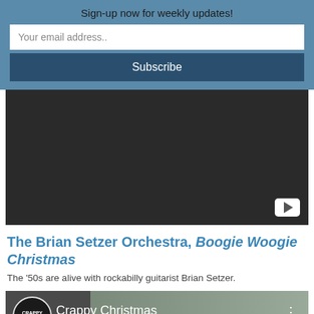Sign-up now for weekly updates!
Your email address..
Subscribe
[Figure (screenshot): Dark video thumbnail with YouTube play button icon in bottom right corner]
The Brian Setzer Orchestra, Boogie Woogie Christmas
The '50s are alive with rockabilly guitarist Brian Setzer.
[Figure (screenshot): YouTube video thumbnail for Crappy Christmas channel with share bar overlay at bottom showing 'Share This' text and close button]